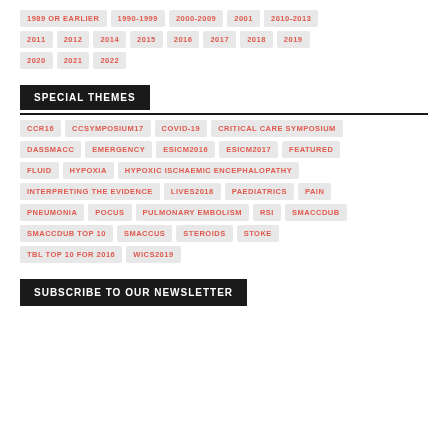1989 OR EARLIER
1990-1999
2000-2009
2001
2010-2013
2011
2012
2014
2015
2016
2017
2018
2019
2020
2021
2022
SPECIAL THEMES
CCR16
CCSYMPOSIUM17
COVID-19
CRITICAL CARE SYMPOSIUM
DASSMACC
EMERGENCY
ESICM2016
ESICM2017
FEATURED
FLUID
HYPOXIA
HYPOXIC ISCHAEMIC ENCEPHALOPATHY
INTERPRETING THE EVIDENCE
LIVES2018
PAEDIATRICS
PAIN
PNEUMONIA
POCUS
PULMONARY EMBOLISM
RSI
SMACCDUB
SMACCDUB TOP 10
SMACCUS
STEROIDS
STOKE
TBL TOP 10 FOR 2016
WICS2019
SUBSCRIBE TO OUR NEWSLETTER